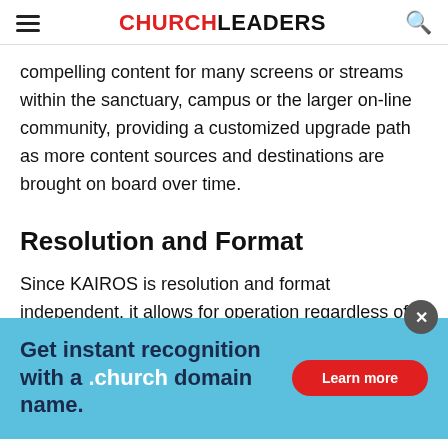CHURCHLEADERS
compelling content for many screens or streams within the sanctuary, campus or the larger on-line community, providing a customized upgrade path as more content sources and destinations are brought on board over time.
Resolution and Format
Since KAIROS is resolution and format independent, it allows for operation regardless of media formats or the resolution capabilities with different accessed simultaneously scene. KAIROS fully supports baseband and IP signals such as SDI,
[Figure (infographic): Advertisement overlay: light blue background with text 'Get instant recognition with a .church domain name.' and a red 'Learn more' button. A grey close (X) button is visible in the top right corner of the ad.]